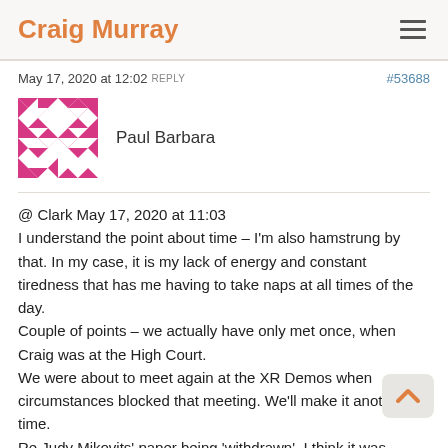Craig Murray
May 17, 2020 at 12:02 REPLY   #53688
Paul Barbara
@ Clark May 17, 2020 at 11:03
I understand the point about time – I'm also hamstrung by that. In my case, it is my lack of energy and constant tiredness that has me having to take naps at all times of the day.
Couple of points – we actually have only met once, when Craig was at the High Court.
We were about to meet again at the XR Demos when circumstances blocked that meeting. We'll make it another time.
Re Judy Mikovits' paper being 'withdrawn', I think it was withdrawn by the magazine or wherever it was published, not by Mikovits. I don't really know anything about that aspect, but I do